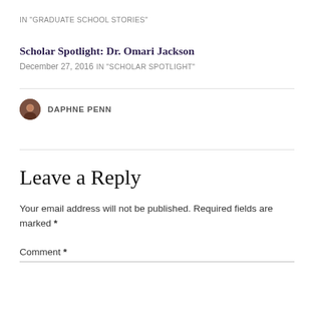IN "GRADUATE SCHOOL STORIES"
Scholar Spotlight: Dr. Omari Jackson
December 27, 2016
IN "SCHOLAR SPOTLIGHT"
DAPHNE PENN
Leave a Reply
Your email address will not be published. Required fields are marked *
Comment *